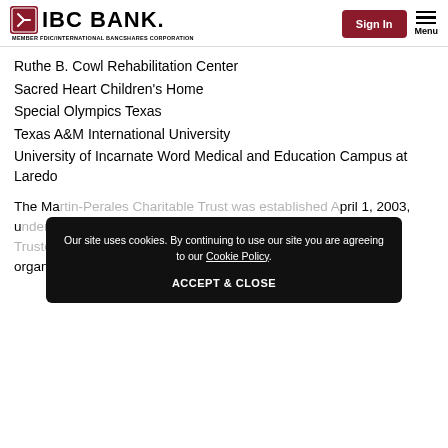IBC BANK — MEMBER FDIC/INTERNATIONAL BANCSHARES CORPORATION | Sign In | Menu
Ruthe B. Cowl Rehabilitation Center
Sacred Heart Children's Home
Special Olympics Texas
Texas A&M International University
University of Incarnate Word Medical and Education Campus at Laredo
The Ma[rtin-Perales Charitable Trust was established April 1, 2003, u[nder the will of Dennis Nixon]no, Jr. where h[e named IBC Bank as Trustee], the Trust ha[s] organizations and schools.
Our site uses cookies. By continuing to use our site you are agreeing to our Cookie Policy. ACCEPT & CLOSE